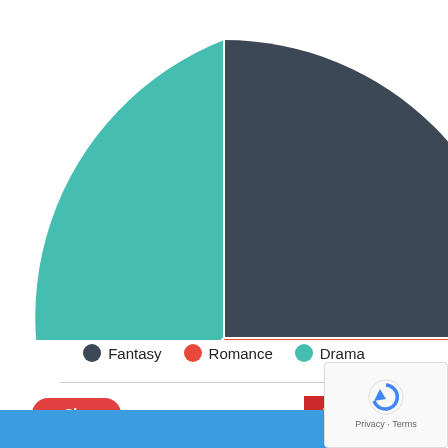[Figure (pie-chart): Pie chart showing three slices: dark slate (Fantasy), red (Romance), teal (Drama). The chart is cropped at top, showing roughly the bottom 3/4 of the circle.]
Fantasy   Romance   Drama
Share
[Figure (logo): infogram logo badge in red with white text]